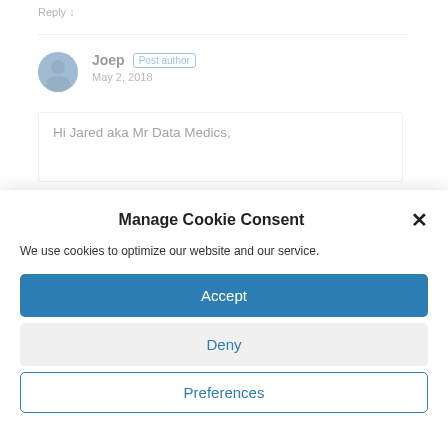Reply ↓
Joep Post author
May 2, 2018
Hi Jared aka Mr Data Medics,
Manage Cookie Consent
We use cookies to optimize our website and our service.
Accept
Deny
Preferences